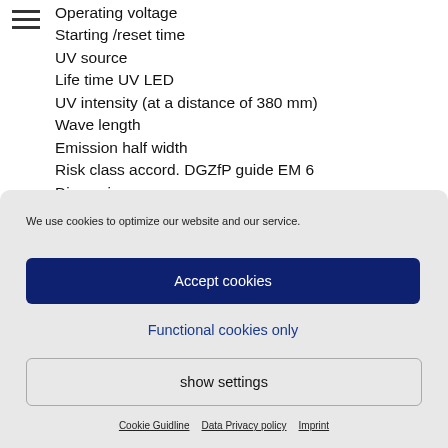Operating voltage
Starting /reset time
UV source
Life time UV LED
UV intensity (at a distance of 380 mm)
Wave length
Emission half width
Risk class accord. DGZfP guide EM 6
Dimensions
We use cookies to optimize our website and our service.
Accept cookies
Functional cookies only
show settings
Cookie Guidline   Data Privacy policy   Imprint